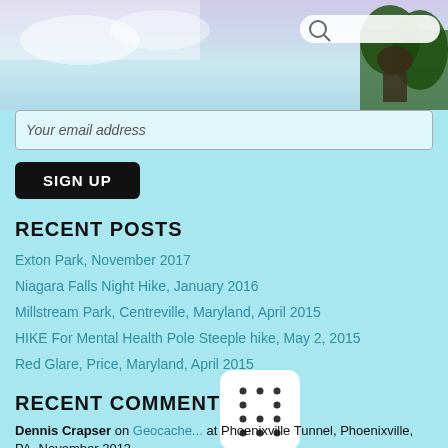[Figure (photo): Header photo showing a person outdoors with sky and trees in background]
Your email address
SIGN UP
RECENT POSTS
Exton Park, November 2017
Niagara Falls Night Hike, January 2016
Millstream Park, Centreville, Maryland, April 2015
HIKE For Mental Health Pole Steeple hike, May 2, 2015
Red Glare, Price, Maryland, April 2015
RECENT COMMENTS
[Figure (illustration): Dice showing dots pattern, white rounded square icon]
Dennis Crapser on Geocache... at Phoenixville Tunnel, Phoenixville, PA, November 2013